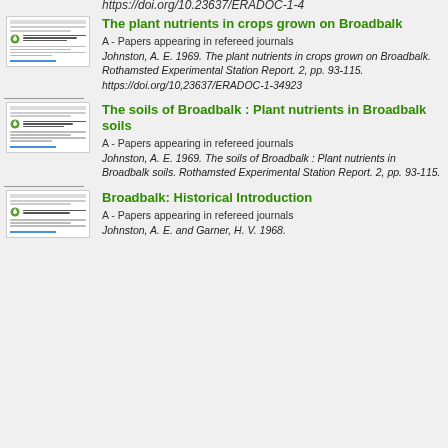https://doi.org/10.23637/ERADOC-1-4
The plant nutrients in crops grown on Broadbalk
A - Papers appearing in refereed journals
Johnston, A. E. 1969. The plant nutrients in crops grown on Broadbalk. Rothamsted Experimental Station Report. 2, pp. 93-115. https://doi.org/10,23637/ERADOC-1-34923
The soils of Broadbalk : Plant nutrients in Broadbalk soils
A - Papers appearing in refereed journals
Johnston, A. E. 1969. The soils of Broadbalk : Plant nutrients in Broadbalk soils. Rothamsted Experimental Station Report. 2, pp. 93-115.
Broadbalk: Historical Introduction
A - Papers appearing in refereed journals
Johnston, A. E. and Garner, H. V. 1968.